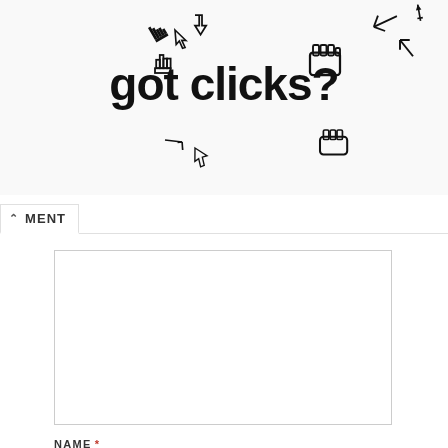[Figure (logo): Website header banner with pixel-art cursor/hand icons surrounding the text 'got clicks?' in bold sans-serif font on a light background]
COMMENT
[Comment text area - empty input field]
NAME *
[Name input field - empty]